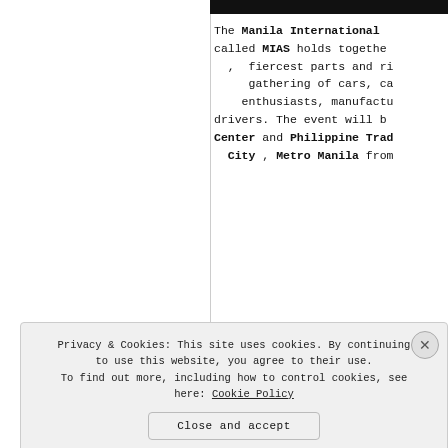The Manila International ... called MIAS holds together , fiercest parts and ri... gathering of cars, ca... enthusiasts, manufactu... drivers. The event will b... Center and Philippine Trad... City , Metro Manila from
the front
WordPre... in the ba
Privacy & Cookies: This site uses cookies. By continuing to use this website, you agree to their use. To find out more, including how to control cookies, see here: Cookie Policy
Close and accept